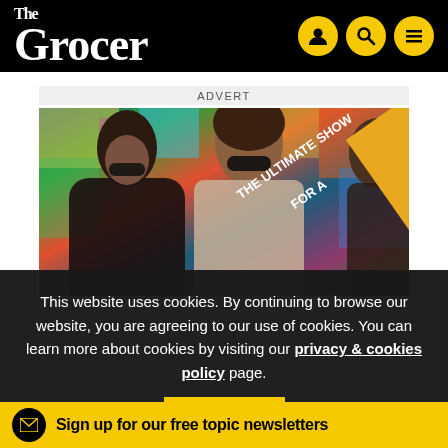The Grocer
ADVERT
[Figure (photo): Advertisement image showing two women smiling in front of colorful graffiti wall with a diagonal yellow banner reading 'THE ULTIMATE SHOW FOR A...']
This website uses cookies. By continuing to browse our website, you are agreeing to our use of cookies. You can learn more about cookies by visiting our privacy & cookies policy page.
OK
Sign up for our free topic newsletters